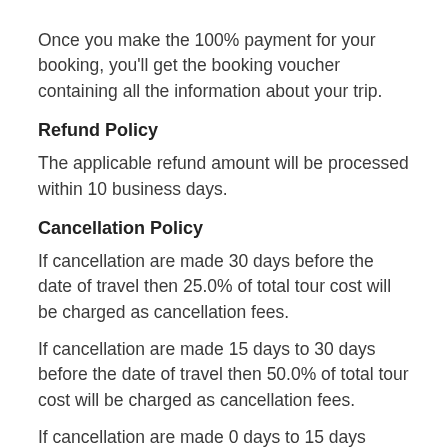Once you make the 100% payment for your booking, you'll get the booking voucher containing all the information about your trip.
Refund Policy
The applicable refund amount will be processed within 10 business days.
Cancellation Policy
If cancellation are made 30 days before the date of travel then 25.0% of total tour cost will be charged as cancellation fees.
If cancellation are made 15 days to 30 days before the date of travel then 50.0% of total tour cost will be charged as cancellation fees.
If cancellation are made 0 days to 15 days before the date of travel then 100.0% of total tour cost